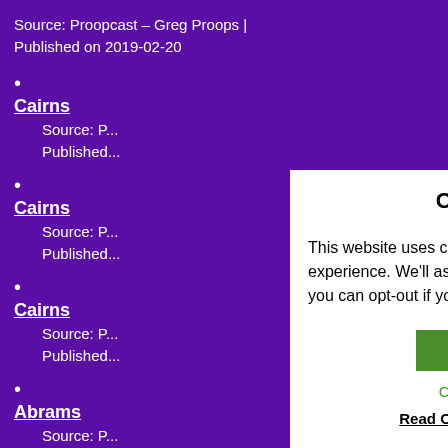Source: Proopcast &#8211; Greg Proops | Published on 2019-02-20
Cairns
Source: P...
Published...
Cairns
Source: P...
Published...
Cairns
Source: P...
Published...
Abrams
Source: P...
Published...
[Figure (screenshot): Cookie consent modal dialog with title COOKIES, body text about cookie usage, ACCEPT green button, Cookie settings link in green, Read Our Cookie Policy... bold underlined link, and Reject link in red.]